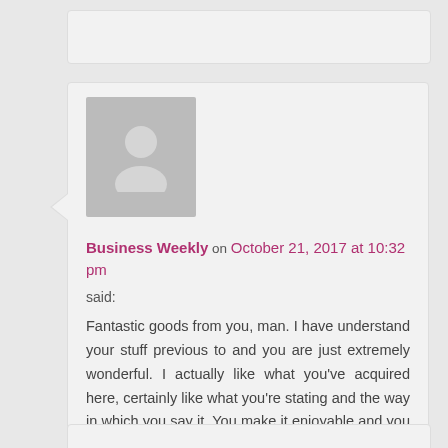Business Weekly on October 21, 2017 at 10:32 pm said: Fantastic goods from you, man. I have understand your stuff previous to and you are just extremely wonderful. I actually like what you've acquired here, certainly like what you're stating and the way in which you say it. You make it enjoyable and you still take care of to keep it sensible. I cant wait to read far more from you. This is actually a terrific web site.